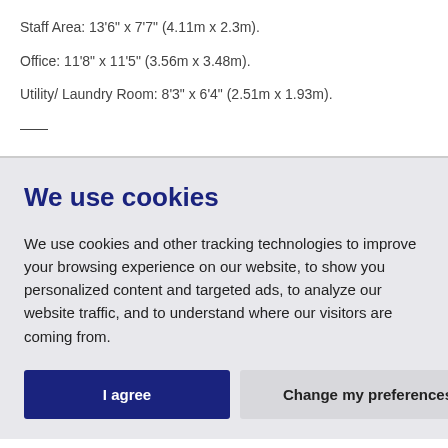Staff Area: 13'6" x 7'7" (4.11m x 2.3m).
Office: 11'8" x 11'5" (3.56m x 3.48m).
Utility/ Laundry Room: 8'3" x 6'4" (2.51m x 1.93m).
We use cookies
We use cookies and other tracking technologies to improve your browsing experience on our website, to show you personalized content and targeted ads, to analyze our website traffic, and to understand where our visitors are coming from.
I agree
Change my preferences